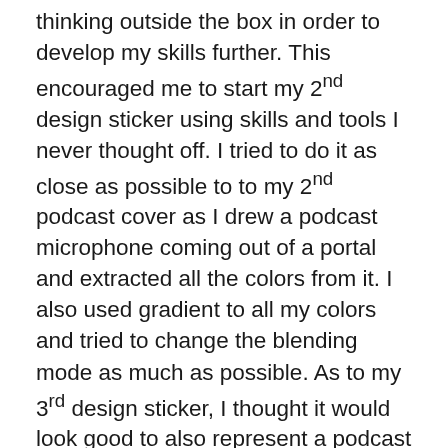thinking outside the box in order to develop my skills further. This encouraged me to start my 2nd design sticker using skills and tools I never thought off. I tried to do it as close as possible to to my 2nd podcast cover as I drew a podcast microphone coming out of a portal and extracted all the colors from it. I also used gradient to all my colors and tried to change the blending mode as much as possible. As to my 3rd design sticker, I thought it would look good to also represent a podcast microphone but to try and do it in a different way so it would match my 3rd podcast cover. I did the Neon effect and tried to show depth and motion in it using the gradient colors and the drop shadow effect. As for my final design sticker, which happens to be named 1st design sticker cause It represented my 1st podcast cover, I tried to use the clipping mask and pathfinder tool as much as